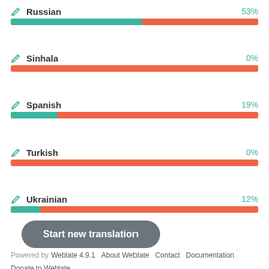[Figure (bar-chart): Translation progress by language]
Start new translation
Powered by Weblate 4.9.1    About Weblate    Contact    Documentation
Donate to Weblate